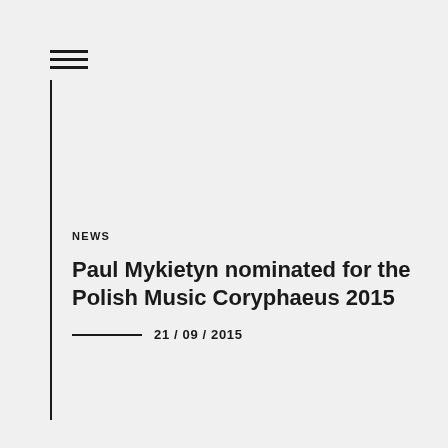≡
NEWS
Paul Mykietyn nominated for the Polish Music Coryphaeus 2015
21 / 09 / 2015